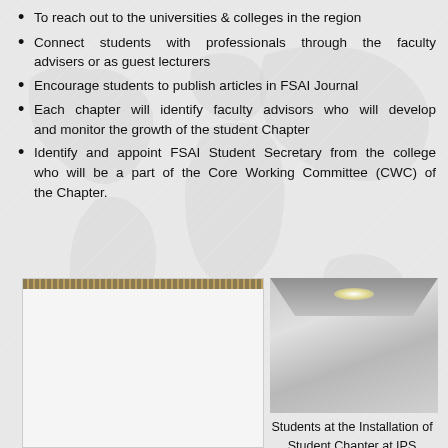To reach out to the universities & colleges in the region
Connect students with professionals through the faculty advisers or as guest lecturers
Encourage students to publish articles in FSAI Journal
Each chapter will identify faculty advisors who will develop and monitor the growth of the student Chapter
Identify and appoint FSAI Student Secretary from the college who will be a part of the Core Working Committee (CWC) of the Chapter.
[Figure (photo): Left photo: notebook or document with gold-brown spiral binding at top]
[Figure (photo): Right photo: students at the Installation of Student Chapter at IPS Academy, Indore — indoor meeting room with ceiling lights]
Students at the Installation of Student Chapter at IPS Academy, Indore